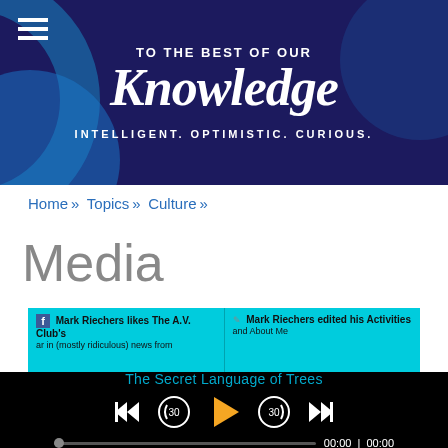TO THE BEST OF OUR Knowledge — INTELLIGENT. OPTIMISTIC. CURIOUS.
Home » Topics » Culture »
Media
[Figure (screenshot): Screenshot of a Facebook/social media activity page showing Mark Riechers likes The A.V. Club and Mark Riechers edited his Activities and About Me]
[Figure (screenshot): Audio player showing 'The Secret Language of Trees' with playback controls (skip back, rewind 30s, play, forward 30s, skip forward) and progress bar at 00:00 / 00:00]